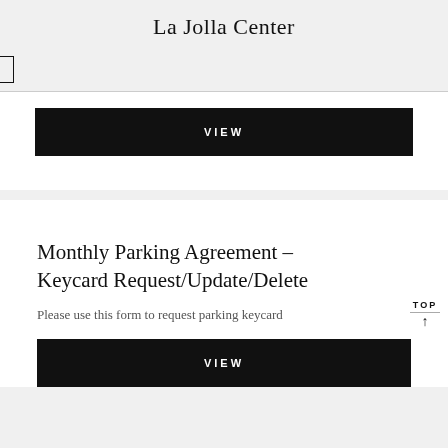La Jolla Center
NAVIGATION
[Figure (screenshot): Black VIEW button (partial card from previous section)]
Monthly Parking Agreement – Keycard Request/Update/Delete
Please use this form to request parking keycard
[Figure (screenshot): Black VIEW button for Monthly Parking Agreement form]